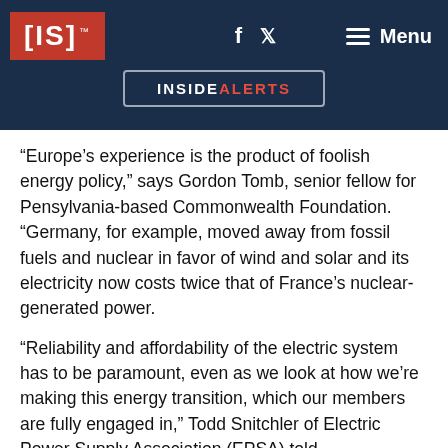[IS]™  f  🐦  ☰ Menu
INSIDEALERTS
“Europe’s experience is the product of foolish energy policy,” says Gordon Tomb, senior fellow for Pensylvania-based Commonwealth Foundation. “Germany, for example, moved away from fossil fuels and nuclear in favor of wind and solar and its electricity now costs twice that of France’s nuclear-generated power.
“Reliability and affordability of the electric system has to be paramount, even as we look at how we’re making this energy transition, which our members are fully engaged in,” Todd Snitchler of Electric Power Supply Association (EPSA) told InsideSources. “Europe is not identical to the United States, but it…